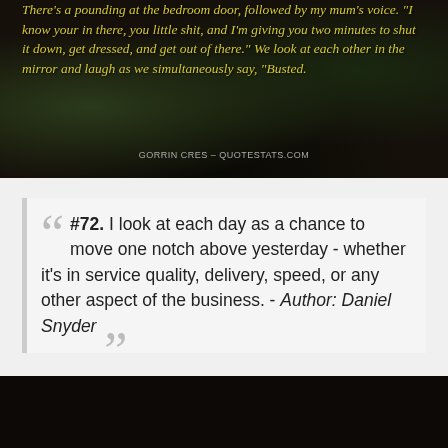[Figure (photo): Dark atmospheric background image with golden/yellow italic text quote about being caught by mum, with attribution to Gorrin Cres - QUOTESTATS.COM]
There's a pounding at the bedroom door, followed by my mum's voice. "I know your in there, you little shit, and I'm giving you two minutes to shut it down, get dressed, and get out of there." We look at each other in the mirror and laugh as we simultaneously say, "Busted."
Gorrin Cres - QUOTESTATS.COM
#72. I look at each day as a chance to move one notch above yesterday - whether it's in service quality, delivery, speed, or any other aspect of the business. - Author: Daniel Snyder
[Figure (photo): Dark image at the bottom of the page, mostly black with slight illumination]